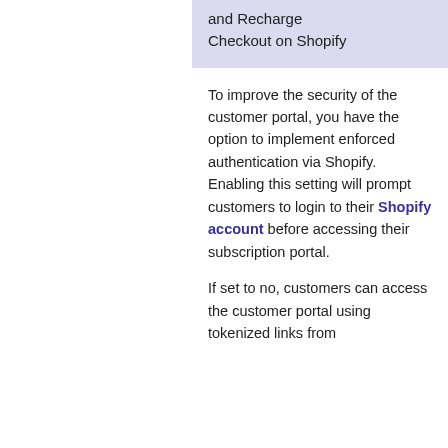and Recharge Checkout on Shopify
To improve the security of the customer portal, you have the option to implement enforced authentication via Shopify. Enabling this setting will prompt customers to login to their Shopify account before accessing their subscription portal.
If set to no, customers can access the customer portal using tokenized links from